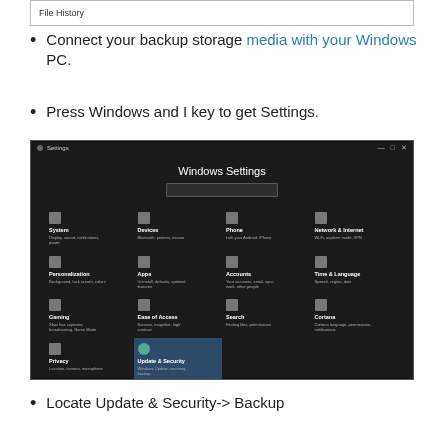[Figure (screenshot): Top portion of a Windows File History settings panel showing the label 'File History']
Connect your backup storage media with your Windows PC.
Press Windows and I key to get Settings.
[Figure (screenshot): Windows Settings screen showing a dark-themed settings menu with options: System, Devices, Phone, Network & Internet, Personalization, Apps, Accounts, Time & Language, Gaming, Ease of Access, Search, Cortana, Privacy, Update & Security (highlighted). Search bar visible at top.]
Locate Update & Security-> Backup